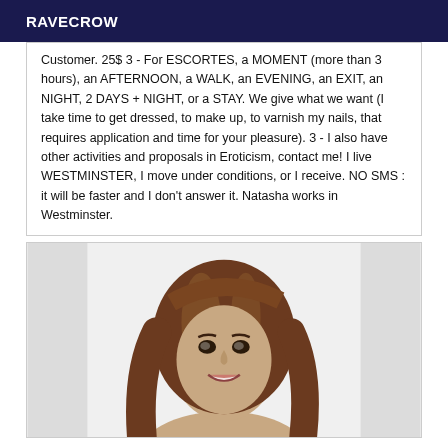RAVECROW
Customer. 25$ 3 - For ESCORTES, a MOMENT (more than 3 hours), an AFTERNOON, a WALK, an EVENING, an EXIT, an NIGHT, 2 DAYS + NIGHT, or a STAY. We give what we want (I take time to get dressed, to make up, to varnish my nails, that requires application and time for your pleasure). 3 - I also have other activities and proposals in Eroticism, contact me! I live WESTMINSTER, I move under conditions, or I receive. NO SMS : it will be faster and I don't answer it. Natasha works in Westminster.
[Figure (photo): Portrait photo of a smiling woman with long brown hair against a light background]